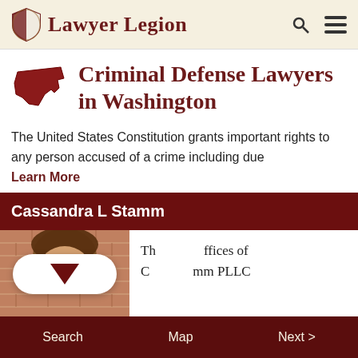Lawyer Legion
Criminal Defense Lawyers in Washington
The United States Constitution grants important rights to any person accused of a crime including due Learn More
Cassandra L Stamm
[Figure (photo): Headshot photo of attorney Cassandra L Stamm in front of brick wall, wearing glasses]
The Law Offices of Cassandra L Stamm PLLC
Search   Map   Next >